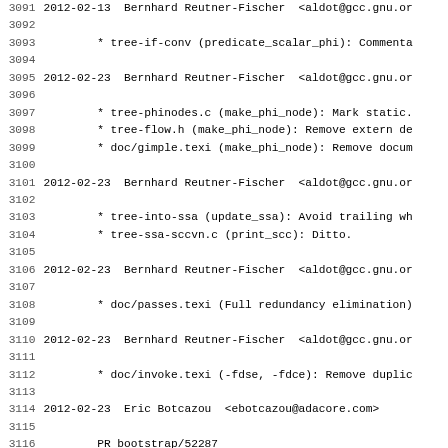Source code changelog / version control log snippet showing commits by Bernhard Reutner-Fischer, Eric Botcazou, and Uros Bizjak dated 2012-02-13 and 2012-02-23, lines 3091-3122.